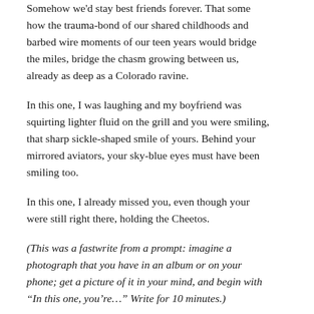Somehow we'd stay best friends forever. That some how the trauma-bond of our shared childhoods and barbed wire moments of our teen years would bridge the miles, bridge the chasm growing between us, already as deep as a Colorado ravine.
In this one, I was laughing and my boyfriend was squirting lighter fluid on the grill and you were smiling, that sharp sickle-shaped smile of yours. Behind your mirrored aviators, your sky-blue eyes must have been smiling too.
In this one, I already missed you, even though your were still right there, holding the Cheetos.
(This was a fastwrite from a prompt: imagine a photograph that you have in an album or on your phone; get a picture of it in your mind, and begin with “In this one, you’re…” Write for 10 minutes.)